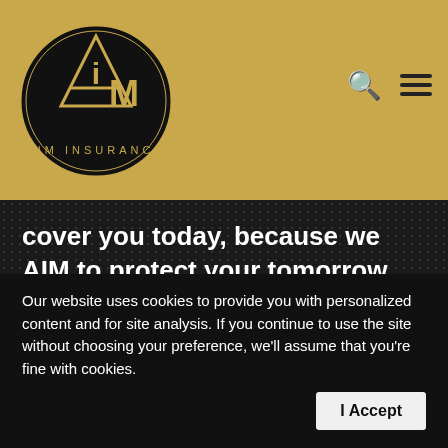[Figure (logo): AIM Insurance circular logo with gold and black design, showing a triangle letter A and 'M' with 'AIM INSURANCE' text around the bottom]
cover you today, because we AIM to protect your tomorrow.
Quote Request
Our website uses cookies to provide you with personalized content and for site analysis. If you continue to use the site without choosing your preference, we'll assume that you're fine with cookies.